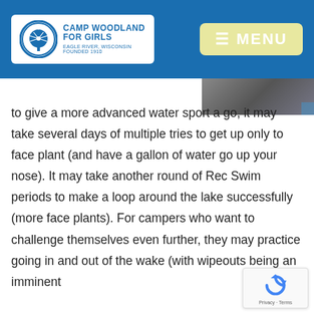Camp Woodland for Girls – Eagle River, Wisconsin – Founded 1910 – MENU
[Figure (photo): Partial photo visible in upper right corner of content area]
to give a more advanced water sport a go, it may take several days of multiple tries to get up only to face plant (and have a gallon of water go up your nose). It may take another round of Rec Swim periods to make a loop around the lake successfully (more face plants). For campers who want to challenge themselves even further, they may practice going in and out of the wake (with wipeouts being an imminent